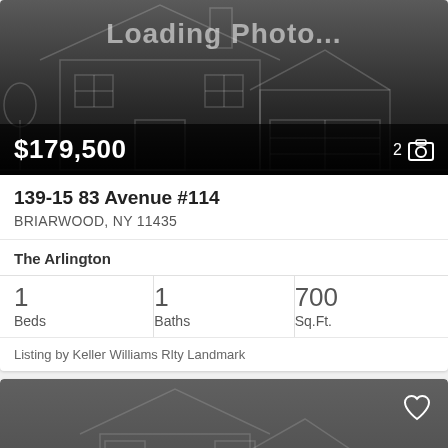[Figure (photo): Loading photo placeholder with house illustration outline, dark gradient background, showing '$179,500' price and '2' photo count]
139-15 83 Avenue #114
BRIARWOOD, NY 11435
The Arlington
1 Beds
1 Baths
700 Sq.Ft.
Listing by Keller Williams Rlty Landmark
[Figure (photo): Second loading photo placeholder with house illustration outline, darker gray background, with heart/favorite icon in top right]